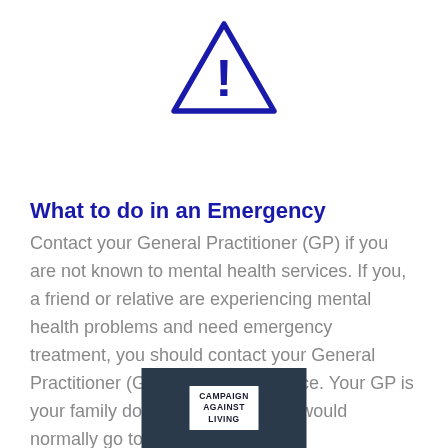[Figure (illustration): Warning triangle icon with exclamation mark, dark navy blue outline]
What to do in an Emergency
Contact your General Practitioner (GP) if you are not known to mental health services. If you, a friend or relative are experiencing mental health problems and need emergency treatment, you should contact your General Practitioner (GP) in the first instance. Your GP is your family doctor, the doctor you would normally go to see if ...
[Figure (logo): Campaign Against Living logo — white text box on dark navy background reading CAMPAIGN AGAINST LIVING]